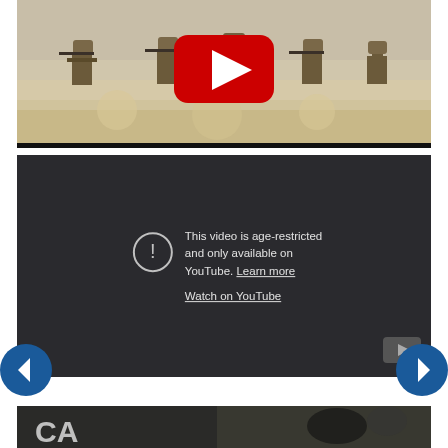[Figure (screenshot): YouTube video thumbnail showing soldiers in desert camouflage running with weapons, with a YouTube play button overlay]
[Figure (screenshot): YouTube age-restricted video embed showing dark background with exclamation warning icon, text 'This video is age-restricted and only available on YouTube. Learn more', and 'Watch on YouTube' link, with small YouTube icon in bottom right corner]
[Figure (screenshot): Partially visible video thumbnail at bottom of page showing dark image with partial letters]